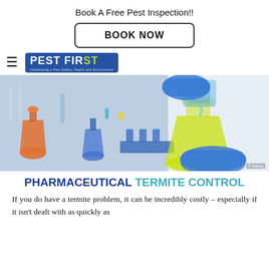Book A Free Pest Inspection!!
[Figure (other): BOOK NOW button with rounded rectangle border]
[Figure (logo): Pest First logo - blue background with green ST, tagline below]
[Figure (photo): Laboratory photo showing person in blue gloves pouring liquid from beaker into Erlenmeyer flask with yellow-green liquid, orange flasks in foreground, blue lab equipment in background]
PHARMACEUTICAL TERMITE CONTROL
If you do have a termite problem, it can be incredibly costly – especially if it isn't dealt with as quickly as